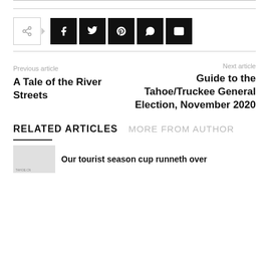[Figure (other): Social share buttons row: share icon box with arrow, followed by black square buttons for Facebook, Twitter, Pinterest, WhatsApp, and Email]
Previous article
A Tale of the River Streets
Next article
Guide to the Tahoe/Truckee General Election, November 2020
RELATED ARTICLES
MORE FROM AUTHOR
Our tourist season cup runneth over